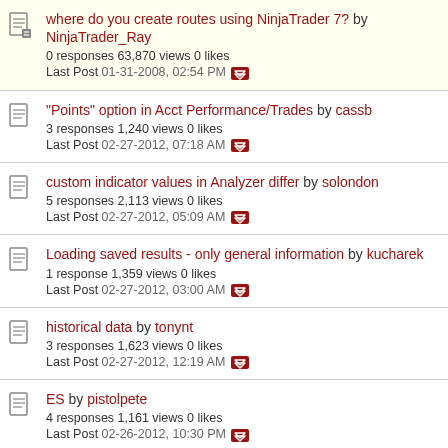where do you create routes using NinjaTrader 7? by NinjaTrader_Ray — 0 responses 63,870 views 0 likes — Last Post 01-31-2008, 02:54 PM
"Points" option in Acct Performance/Trades by cassb — 3 responses 1,240 views 0 likes — Last Post 02-27-2012, 07:18 AM
custom indicator values in Analyzer differ by solondon — 5 responses 2,113 views 0 likes — Last Post 02-27-2012, 05:09 AM
Loading saved results - only general information by kucharek — 1 response 1,359 views 0 likes — Last Post 02-27-2012, 03:00 AM
historical data by tonynt — 3 responses 1,623 views 0 likes — Last Post 02-27-2012, 12:19 AM
ES by pistolpete — 4 responses 1,161 views 0 likes — Last Post 02-26-2012, 10:30 PM